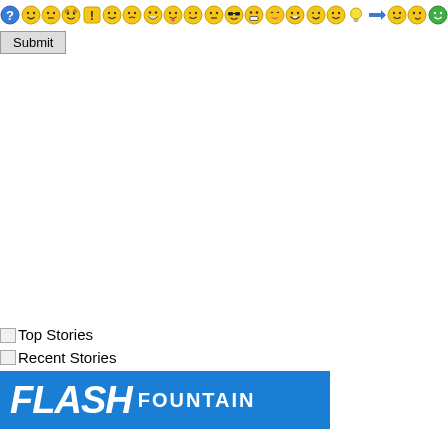[Figure (screenshot): Row of emoji/smiley face icons: question mark circle, smiley, neutral face, devil/grin, exclamation, smile, meh, big grin, tongue out, winking, neutral, sunglasses cool, big teeth grin, laughing, big grin alt, winking smile, smile, lightbulb, blue arrow right, smile alt, smirk, green happy circle]
[Figure (screenshot): Submit button with gray border and background]
Top Stories
Recent Stories
[Figure (logo): Flash Fountain logo: blue rectangle with italic bold white FLASH text and white FOUNTAIN text]